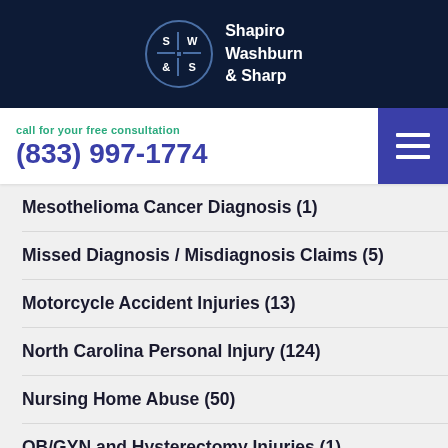[Figure (logo): Shapiro Washburn & Sharp law firm logo with circular emblem on dark navy background]
call for your free consultation
(833) 997-1774
Mesothelioma Cancer Diagnosis (1)
Missed Diagnosis / Misdiagnosis Claims (5)
Motorcycle Accident Injuries (13)
North Carolina Personal Injury (124)
Nursing Home Abuse (50)
OB/GYN and Hysterectomy Injuries (1)
Pedestrian Crosswalk Accidents (16)
Personal Injury (9)